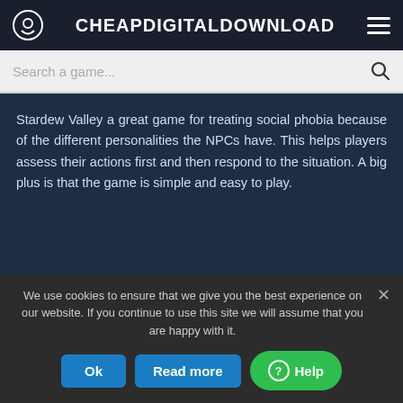CHEAPDIGITALDOWNLOAD
Search a game...
Stardew Valley a great game for treating social phobia because of the different personalities the NPCs have. This helps players assess their actions first and then respond to the situation. A big plus is that the game is simple and easy to play.
AMONG US
We use cookies to ensure that we give you the best experience on our website. If you continue to use this site we will assume that you are happy with it.